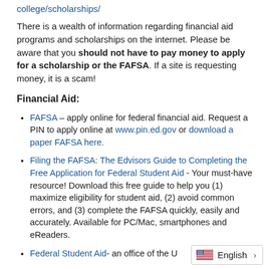college/scholarships/
There is a wealth of information regarding financial aid programs and scholarships on the internet. Please be aware that you should not have to pay money to apply for a scholarship or the FAFSA. If a site is requesting money, it is a scam!
Financial Aid:
FAFSA – apply online for federal financial aid. Request a PIN to apply online at www.pin.ed.gov or download a paper FAFSA here.
Filing the FAFSA: The Edvisors Guide to Completing the Free Application for Federal Student Aid - Your must-have resource! Download this free guide to help you (1) maximize eligibility for student aid, (2) avoid common errors, and (3) complete the FAFSA quickly, easily and accurately. Available for PC/Mac, smartphones and eReaders.
Federal Student Aid- an office of the U